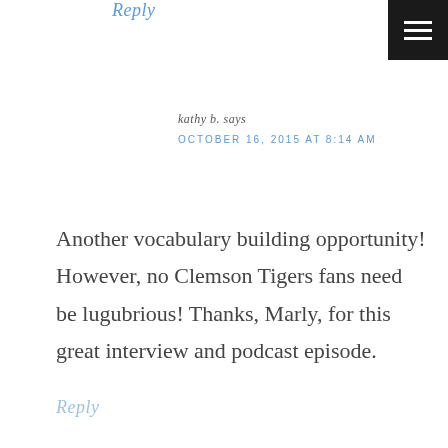Reply
kathy b. says
OCTOBER 16, 2015 AT 8:14 AM
Another vocabulary building opportunity! However, no Clemson Tigers fans need be lugubrious! Thanks, Marly, for this great interview and podcast episode.
Reply